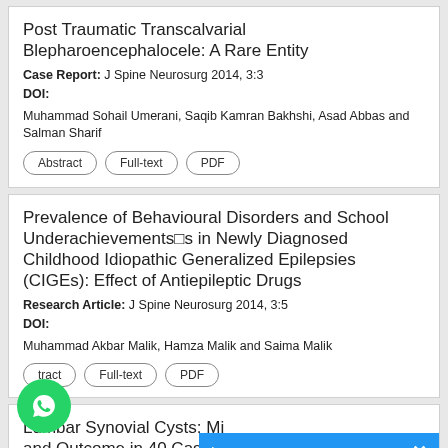Post Traumatic Transcalvarial Blepharoencephalocele: A Rare Entity
Case Report: J Spine Neurosurg 2014, 3:3
DOI:
Muhammad Sohail Umerani, Saqib Kamran Bakhshi, Asad Abbas and Salman Sharif
Abstract | Full-text | PDF
Prevalence of Behavioural Disorders and School Underachievements in Newly Diagnosed Childhood Idiopathic Generalized Epilepsies (CIGEs): Effect of Antiepileptic Drugs
Research Article: J Spine Neurosurg 2014, 3:5
DOI:
Muhammad Akbar Malik, Hamza Malik and Saima Malik
Abstract | Full-text | PDF
Lumbar Synovial Cysts: Mi... and Outcome in 40 Cases: